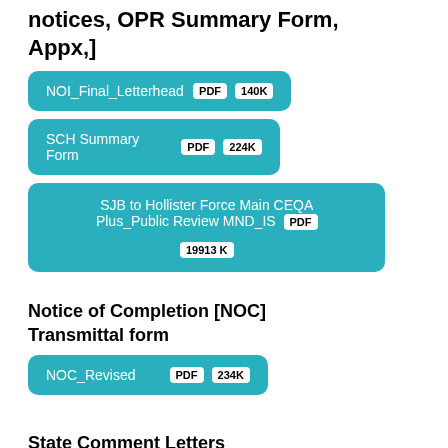notices, OPR Summary Form, Appx,]
NOI_Final_Letterhead PDF 140K
SCH Summary Form PDF 224K
SJB to Hollister Force Main CEQA Plus_Public Review MND_IS PDF 19913K
Notice of Completion [NOC] Transmittal form
NOC_Revised PDF 234K
State Comment Letters